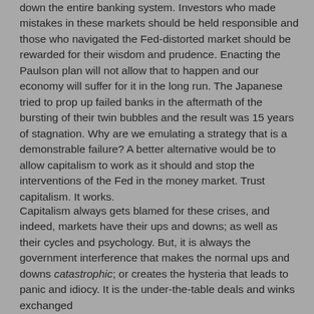down the entire banking system. Investors who made mistakes in these markets should be held responsible and those who navigated the Fed-distorted market should be rewarded for their wisdom and prudence. Enacting the Paulson plan will not allow that to happen and our economy will suffer for it in the long run. The Japanese tried to prop up failed banks in the aftermath of the bursting of their twin bubbles and the result was 15 years of stagnation. Why are we emulating a strategy that is a demonstrable failure? A better alternative would be to allow capitalism to work as it should and stop the interventions of the Fed in the money market. Trust capitalism. It works.
Capitalism always gets blamed for these crises, and indeed, markets have their ups and downs; as well as their cycles and psychology. But, it is always the government interference that makes the normal ups and downs catastrophic; or creates the hysteria that leads to panic and idiocy. It is the under-the-table deals and winks exchanged